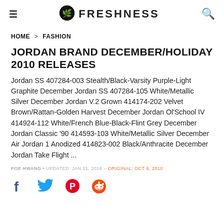FRESHNESS
HOME > FASHION
JORDAN BRAND DECEMBER/HOLIDAY 2010 RELEASES
Jordan SS 407284-003 Stealth/Black-Varsity Purple-Light Graphite December Jordan SS 407284-105 White/Metallic Silver December Jordan V.2 Grown 414174-202 Velvet Brown/Rattan-Golden Harvest December Jordan Ol'School IV 414924-112 White/French Blue-Black-Flint Grey December Jordan Classic '90 414593-103 White/Metallic Silver December Air Jordan 1 Anodized 414823-002 Black/Anthracite December Jordan Take Flight ...
POE HWANG • UPDATED: JAN 21, 2016 – ORIGINAL: OCT 6, 2010
[Figure (infographic): Social sharing icons: Facebook (blue), Twitter (blue), Pinterest (red), Reddit (orange-red)]